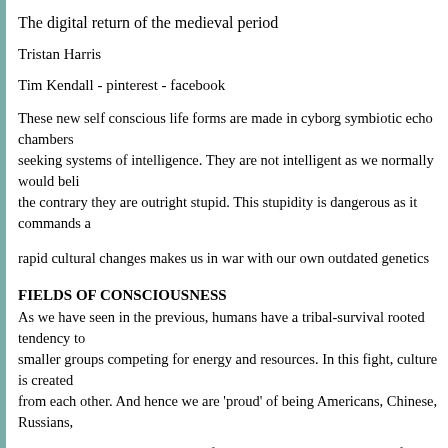The digital return of the medieval period
Tristan Harris
Tim Kendall - pinterest - facebook
These new self conscious life forms are made in cyborg symbiotic echo chambers of seeking systems of intelligence. They are not intelligent as we normally would believe, the contrary they are outright stupid. This stupidity is dangerous as it commands a
rapid cultural changes makes us in war with our own outdated genetics
FIELDS OF CONSCIOUSNESS
As we have seen in the previous, humans have a tribal-survival rooted tendency to smaller groups competing for energy and resources. In this fight, culture is created from each other. And hence we are 'proud' of being Americans, Chinese, Russians,
All creatures contain one reflection: one, that is the denial of its the highest of the angels denies he is the lowest.  God is the der
Meister Eckhart
It is ridiculous seen from an in meditation cultivated non-dual consciousness. The make you a good survivor in the times of Christ. You would get crucified by strong. Yet somehow, times have changed in the favour of a more elevated and inclusive p